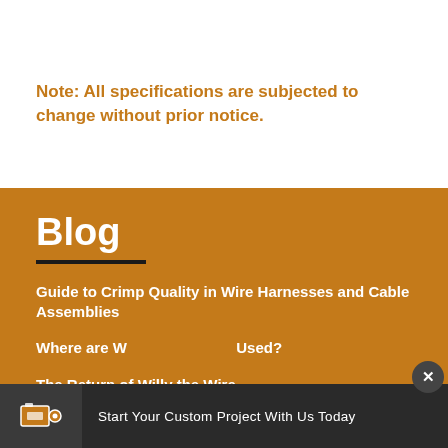Note: All specifications are subjected to change without prior notice.
Blog
Guide to Crimp Quality in Wire Harnesses and Cable Assemblies
Where are W... Used?
The Return of Willy the Wire
Start Your Custom Project With Us Today